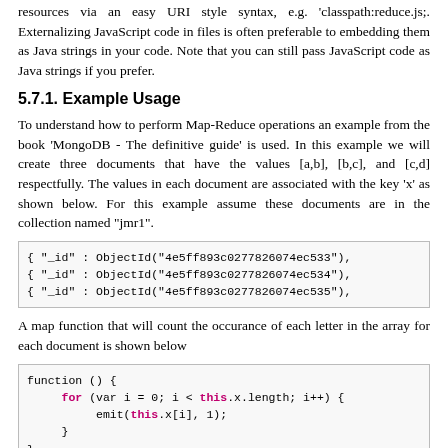resources via an easy URI style syntax, e.g. 'classpath:reduce.js;. Externalizing JavaScript code in files is often preferable to embedding them as Java strings in your code. Note that you can still pass JavaScript code as Java strings if you prefer.
5.7.1. Example Usage
To understand how to perform Map-Reduce operations an example from the book 'MongoDB - The definitive guide' is used. In this example we will create three documents that have the values [a,b], [b,c], and [c,d] respectfully. The values in each document are associated with the key 'x' as shown below. For this example assume these documents are in the collection named "jmr1".
[Figure (screenshot): Code block showing three MongoDB ObjectId documents]
A map function that will count the occurance of each letter in the array for each document is shown below
[Figure (screenshot): Code block showing a JavaScript map function with a for loop using emit(this.x[i], 1)]